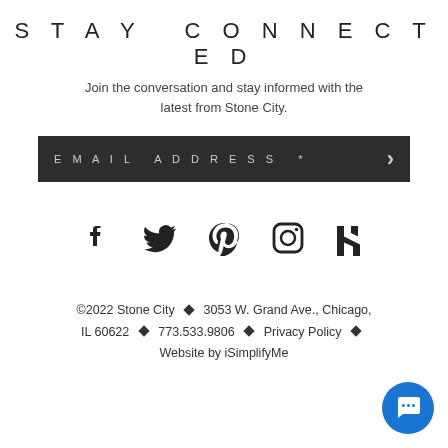STAY CONNECTED
Join the conversation and stay informed with the latest from Stone City.
EMAIL ADDRESS *
[Figure (infographic): Social media icons: Facebook, Twitter, Pinterest, Instagram, Houzz]
©2022 Stone City  ◆  3053 W. Grand Ave., Chicago, IL 60622  ◆  773.533.9806  ◆  Privacy Policy  ◆  Website by iSimplifyMe